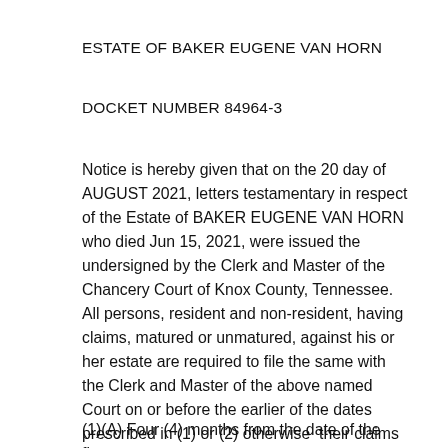ESTATE OF BAKER EUGENE VAN HORN
DOCKET NUMBER 84964-3
Notice is hereby given that on the 20 day of AUGUST 2021, letters testamentary in respect of the Estate of BAKER EUGENE VAN HORN who died Jun 15, 2021, were issued the undersigned by the Clerk and Master of the Chancery Court of Knox County, Tennessee. All persons, resident and non-resident, having claims, matured or unmatured, against his or her estate are required to file the same with the Clerk and Master of the above named Court on or before the earlier of the dates prescribed in (1) or (2) otherwise  their claims will be forever barred:
(1)(A) Four (4) months from the date of the first...